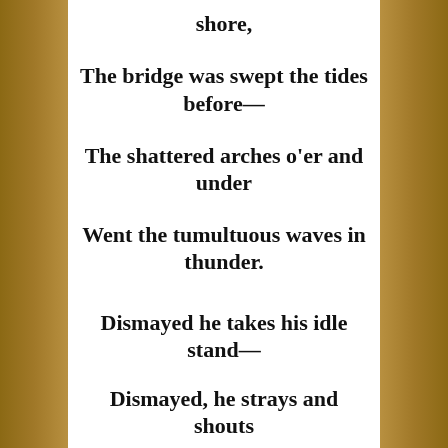shore,
The bridge was swept the tides before—
The shattered arches o'er and under
Went the tumultuous waves in thunder.
Dismayed he takes his idle stand—
Dismayed, he strays and shouts